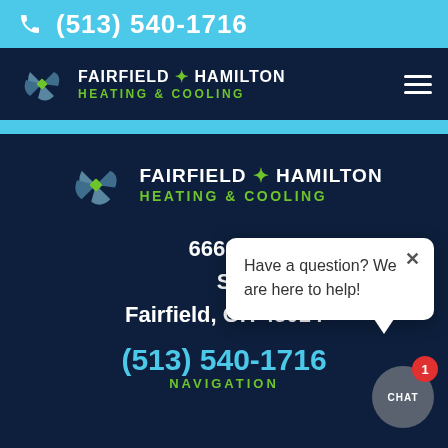(513) 540-1716
[Figure (logo): Fairfield Hamilton Heating & Cooling logo with pinwheel icon in navigation bar]
[Figure (logo): Fairfield Hamilton Heating & Cooling logo with pinwheel icon in main body]
6660 D
S
Fairfield, OH 45014
(513) 540-1716
NAVIGATION
Have a question? We are here to help!